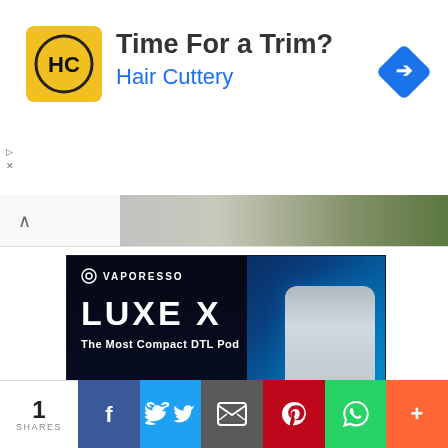[Figure (advertisement): Hair Cuttery advertisement banner with yellow HC logo, 'Time For a Trim?' headline in dark text, 'Hair Cuttery' in blue, and blue diamond arrow icon on right]
[Figure (advertisement): Vaporesso LUXE X vape product advertisement on dark background with blue accents. Shows the device, brand logo, product name 'LUXE X', tagline 'The Most Compact DTL Pod', bullet points: Flavor Boosting Technology, Futuristic Design, SSS Leak-Resistant Technology, Smart Control. Bottom text: '21+ NOT FOR U.S. MARKET']
[Figure (infographic): Social sharing bar with share count '1 SHARES' and buttons for Facebook, Twitter, Email, Pinterest, WhatsApp, and More (+)]